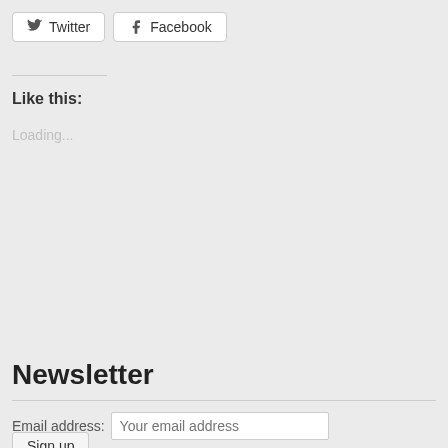[Figure (other): Twitter social share button with bird icon]
[Figure (other): Facebook social share button with f icon]
Like this:
Loading...
Newsletter
Email address: Your email address
Sign up